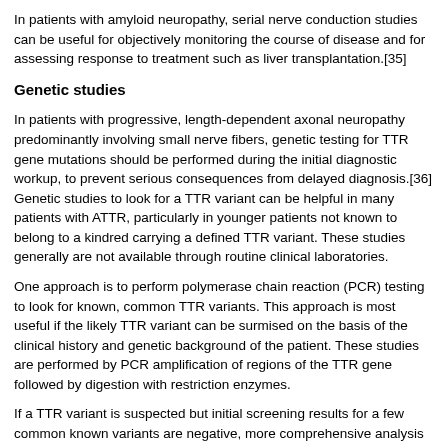In patients with amyloid neuropathy, serial nerve conduction studies can be useful for objectively monitoring the course of disease and for assessing response to treatment such as liver transplantation.[35]
Genetic studies
In patients with progressive, length-dependent axonal neuropathy predominantly involving small nerve fibers, genetic testing for TTR gene mutations should be performed during the initial diagnostic workup, to prevent serious consequences from delayed diagnosis.[36] Genetic studies to look for a TTR variant can be helpful in many patients with ATTR, particularly in younger patients not known to belong to a kindred carrying a defined TTR variant. These studies generally are not available through routine clinical laboratories.
One approach is to perform polymerase chain reaction (PCR) testing to look for known, common TTR variants. This approach is most useful if the likely TTR variant can be surmised on the basis of the clinical history and genetic background of the patient. These studies are performed by PCR amplification of regions of the TTR gene followed by digestion with restriction enzymes.
If a TTR variant is suspected but initial screening results for a few common known variants are negative, more comprehensive analysis for a TTR variant can be performed. Either the protein can be isolated from the serum and studied using methods such as electrospray ionization mass spectrometry (ESIMS) or the gene can be studied by PCR and such methods as single-strand conformation polymorphism analysis and/or direct sequencing.